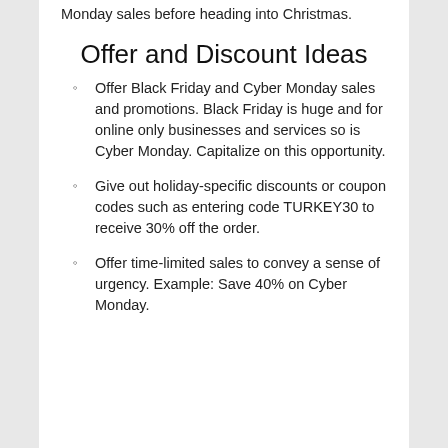Monday sales before heading into Christmas.
Offer and Discount Ideas
Offer Black Friday and Cyber Monday sales and promotions. Black Friday is huge and for online only businesses and services so is Cyber Monday. Capitalize on this opportunity.
Give out holiday-specific discounts or coupon codes such as entering code TURKEY30 to receive 30% off the order.
Offer time-limited sales to convey a sense of urgency. Example: Save 40% on Cyber Monday.